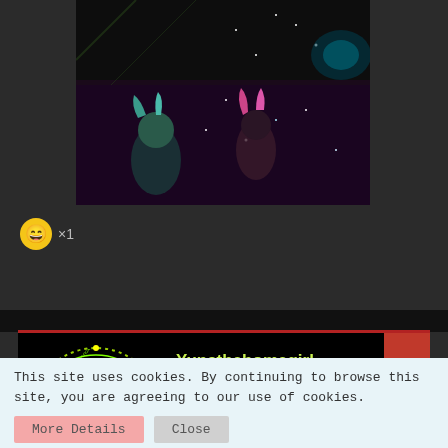[Figure (illustration): Anime/animated character illustration with dark space background, featuring characters with colorful hair in a cinematic scene]
😄 ×1
[Figure (screenshot): User profile card for 'Yunathehomegirl' on a dark-themed social/forum site. Features a circular avatar with green dotted ring showing a person, username in yellow-green, subtitle 'JENO'S RESIDENT SIMP' in gray bar, thumbnail photos of K-pop idols, red navigation arrows on right, red top border.]
This site uses cookies. By continuing to browse this site, you are agreeing to our use of cookies.